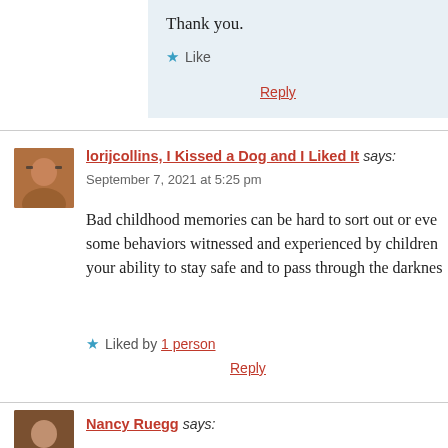Thank you.
Like
Reply
lorijcollins, I Kissed a Dog and I Liked It says:
September 7, 2021 at 5:25 pm
Bad childhood memories can be hard to sort out or eve some behaviors witnessed and experienced by children your ability to stay safe and to pass through the darknes
Liked by 1 person
Reply
Nancy Ruegg says: